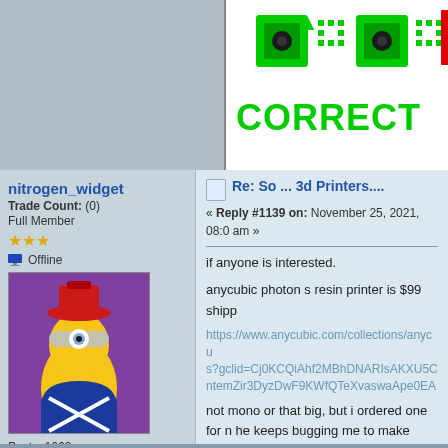[Figure (screenshot): Top banner area showing a green QR-code style graphic with text CORRECT on white background, on the right side. Left side is light blue-grey.]
nitrogen_widget
Trade Count: (0)
Full Member
★★★
Offline
[Figure (photo): Avatar image of a Minion toy figure dressed in Scottish attire (blue jacket with X pattern, red hat) against a purple background.]
Posts: 1662
Last login: Yesterday at 09:47:12 pm
I want to build my own arcade controls!
Re: So ... 3d Printers....
« Reply #1139 on: November 25, 2021, 08:0 am »
if anyone is interested.

anycubic photon s resin printer is $99 shipp

https://www.anycubic.com/collections/anycu s?gclid=Cj0KCQiAhf2MBhDNARIsAKXU5C ntemZir3DyzDwF9KWfQTeXvaswaApe0EA

not mono or that big, but i ordered one for n he keeps bugging me to make cartridge sta time to introduce him to 3d printing so he ca he's 15 so i think he's old enough.

oh, and happy turkey day.